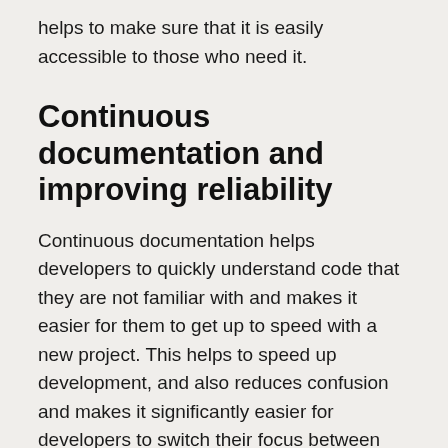helps to make sure that it is easily accessible to those who need it.
Continuous documentation and improving reliability
Continuous documentation helps developers to quickly understand code that they are not familiar with and makes it easier for them to get up to speed with a new project. This helps to speed up development, and also reduces confusion and makes it significantly easier for developers to switch their focus between tasks.
Continuous documentation also allows teams to think more deeply about how they share information. This helps to improve communication